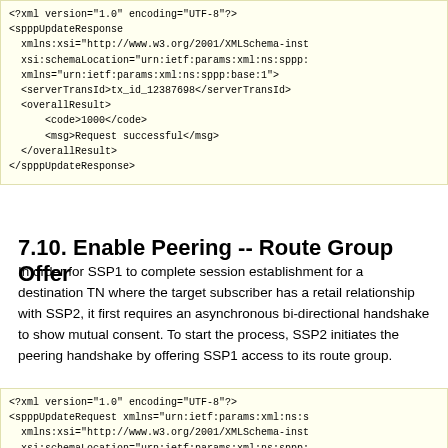[Figure (other): XML code block showing spppUpdateResponse with serverTransId, overallResult code 1000 and message 'Request successful']
7.10. Enable Peering -- Route Group Offer
In order for SSP1 to complete session establishment for a destination TN where the target subscriber has a retail relationship with SSP2, it first requires an asynchronous bi-directional handshake to show mutual consent. To start the process, SSP2 initiates the peering handshake by offering SSP1 access to its route group.
[Figure (other): XML code block showing spppUpdateRequest with xmlns, xsi:schemaLocation, rqst element with ns1:AddRteGrpOfferRqstType]